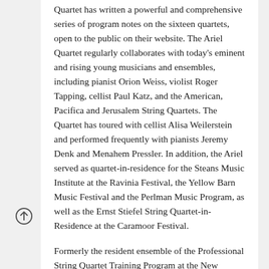Quartet has written a powerful and comprehensive series of program notes on the sixteen quartets, open to the public on their website. The Ariel Quartet regularly collaborates with today's eminent and rising young musicians and ensembles, including pianist Orion Weiss, violist Roger Tapping, cellist Paul Katz, and the American, Pacifica and Jerusalem String Quartets. The Quartet has toured with cellist Alisa Weilerstein and performed frequently with pianists Jeremy Denk and Menahem Pressler. In addition, the Ariel served as quartet-in-residence for the Steans Music Institute at the Ravinia Festival, the Yellow Barn Music Festival and the Perlman Music Program, as well as the Ernst Stiefel String Quartet-in-Residence at the Caramoor Festival.
Formerly the resident ensemble of the Professional String Quartet Training Program at the New England Conservatory, from which the players obtained their undergraduate and graduate degrees, the Ariel was mentored extensively by acclaimed string quartet giants Walter Levin and Paul Katz. It has won numerous international prizes in addition to the Cleveland Quartet Award: Grand Prize at the 2006 Fischoff